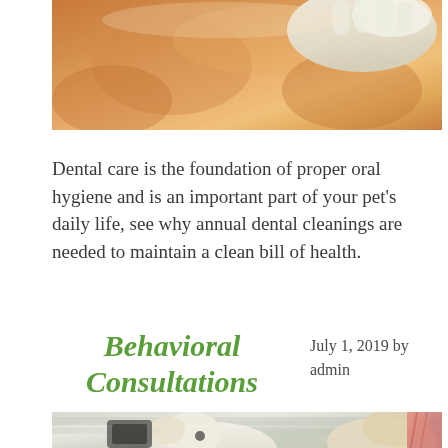[Figure (photo): Photo of a cat being examined, hands in white gloves visible at top]
Dental care is the foundation of proper oral hygiene and is an important part of your pet's daily life, see why annual dental cleanings are needed to maintain a clean bill of health.
Behavioral Consultations
July 1, 2019 by admin
[Figure (photo): Photo of a puppy and a person at the bottom of the page]